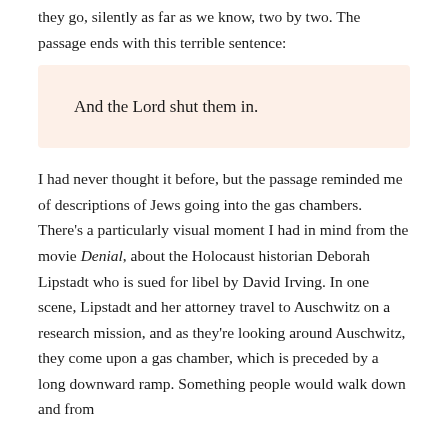they go, silently as far as we know, two by two. The passage ends with this terrible sentence:
And the Lord shut them in.
I had never thought it before, but the passage reminded me of descriptions of Jews going into the gas chambers. There's a particularly visual moment I had in mind from the movie Denial, about the Holocaust historian Deborah Lipstadt who is sued for libel by David Irving. In one scene, Lipstadt and her attorney travel to Auschwitz on a research mission, and as they're looking around Auschwitz, they come upon a gas chamber, which is preceded by a long downward ramp. Something people would walk down and from